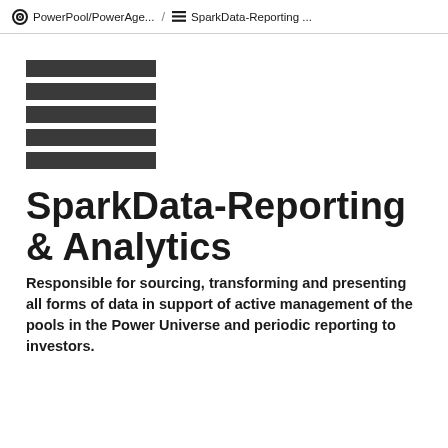PowerPool/PowerAge... / SparkData-Reporting ...
[Figure (logo): Stack of five dark horizontal bars forming a list/menu icon logo]
SparkData-Reporting & Analytics
Responsible for sourcing, transforming and presenting all forms of data in support of active management of the pools in the Power Universe and periodic reporting to investors.